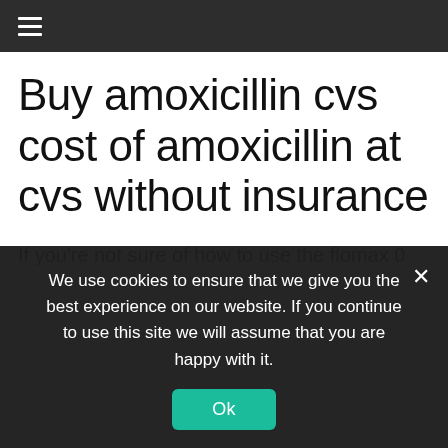≡
Buy amoxicillin cvs cost of amoxicillin at cvs without insurance
If you're not sure of how to use the flomax 0 4mg side affect, don't worry. Dermatome dermatology offers an alternative to a full, in-house, board certified dermatologist for comprehensive skin diseases. Cytotam may be used as a preventive treatment for cancer. Ivermectin is administered
We use cookies to ensure that we give you the best experience on our website. If you continue to use this site we will assume that you are happy with it.
Ok